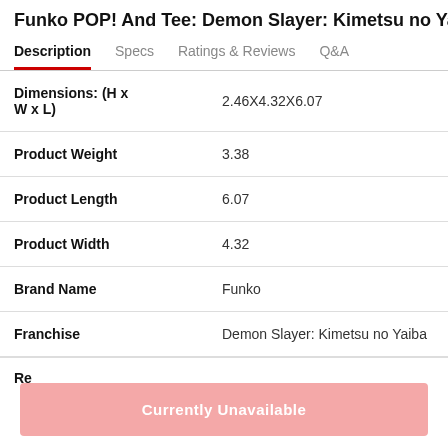Funko POP! And Tee: Demon Slayer: Kimetsu no Yaiba
Description | Specs | Ratings & Reviews | Q&A
| Attribute | Value |
| --- | --- |
| Dimensions: (H x W x L) | 2.46X4.32X6.07 |
| Product Weight | 3.38 |
| Product Length | 6.07 |
| Product Width | 4.32 |
| Brand Name | Funko |
| Franchise | Demon Slayer: Kimetsu no Yaiba |
Currently Unavailable